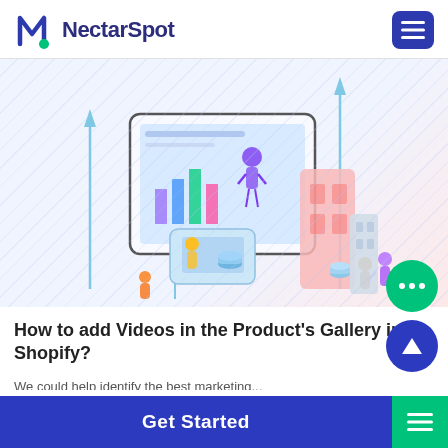NectarSpot
[Figure (illustration): Isometric illustration of a large monitor/screen displaying a dashboard with bar charts and a person interacting with it, surrounded by upward-pointing arrows, a pink building, isometric smartphone, and small figures of people. Background has diagonal line pattern on light blue/pink gradient.]
How to add Videos in the Product's Gallery in Shopify?
We use cookies to improve your experience...
Get Started